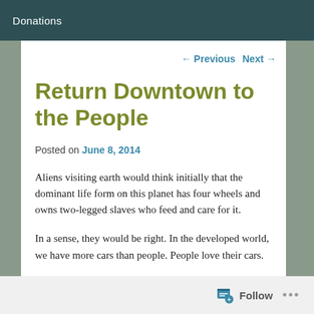Donations
← Previous   Next →
Return Downtown to the People
Posted on June 8, 2014
Aliens visiting earth would think initially that the dominant life form on this planet has four wheels and owns two-legged slaves who feed and care for it.
In a sense, they would be right. In the developed world, we have more cars than people. People love their cars.
Follow ...